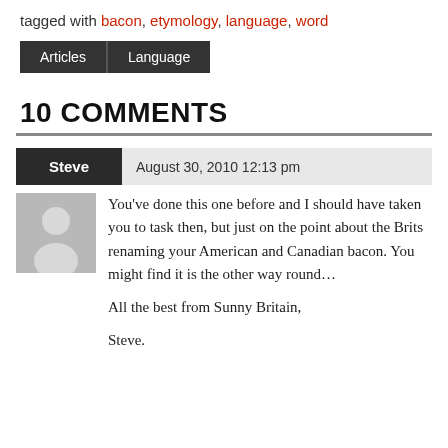tagged with bacon, etymology, language, word
Articles  Language
10 COMMENTS
Steve  August 30, 2010 12:13 pm
You’ve done this one before and I should have taken you to task then, but just on the point about the Brits renaming your American and Canadian bacon. You might find it is the other way round…

All the best from Sunny Britain,

Steve.